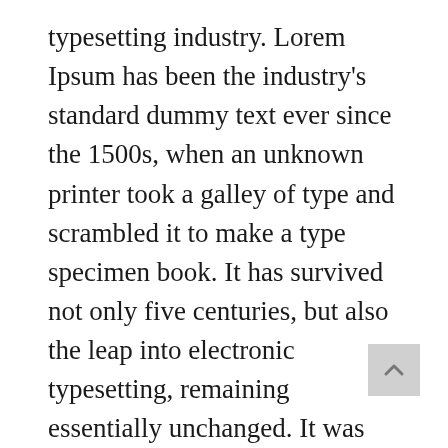typesetting industry. Lorem Ipsum has been the industry's standard dummy text ever since the 1500s, when an unknown printer took a galley of type and scrambled it to make a type specimen book. It has survived not only five centuries, but also the leap into electronic typesetting, remaining essentially unchanged. It was popularised in the 1960s with the release of Letraset sheets containing Lorem Ipsum passages, and more recently with desktop publishing software like Aldus PageMaker including versions of Lorem Ipsum.
It is a long established fact that a reader will